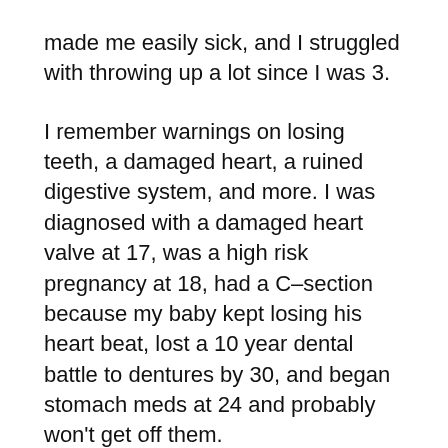made me easily sick, and I struggled with throwing up a lot since I was 3.
I remember warnings on losing teeth, a damaged heart, a ruined digestive system, and more. I was diagnosed with a damaged heart valve at 17, was a high risk pregnancy at 18, had a C–section because my baby kept losing his heart beat, lost a 10 year dental battle to dentures by 30, and began stomach meds at 24 and probably won't get off them.
I learned later it was some to do with going without food a lot. My dad gave us Pepto–Bismol often to keep our stomachs from